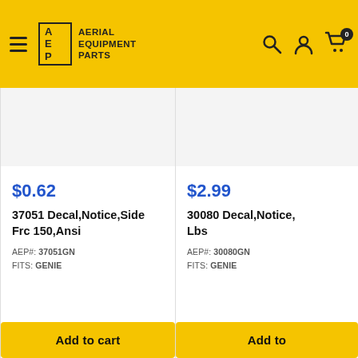Aerial Equipment Parts — header navigation with logo, search, account, and cart icons
$0.62
37051 Decal,Notice,Side Frc 150,Ansi
AEP#: 37051GN
FITS: GENIE
Add to cart
$2.99
30080 Decal,Notice,... Lbs
AEP#: 30080GN
FITS: GENIE
Add to